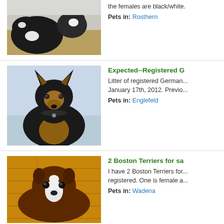[Figure (photo): Black and white puppies on hay/straw]
the females are black/white.
Pets in: Rosthern
[Figure (photo): German Shepherd dog portrait against blue/white background]
Expected--Registered G
Litter of registered German ... January 17th, 2012. Previo...
Pets in: Englefeld
[Figure (photo): Boston Terrier puppy on hardwood floor]
2 Boston Terriers for sa
I have 2 Boston Terriers for... registered. One is female a...
Pets in: Wadena